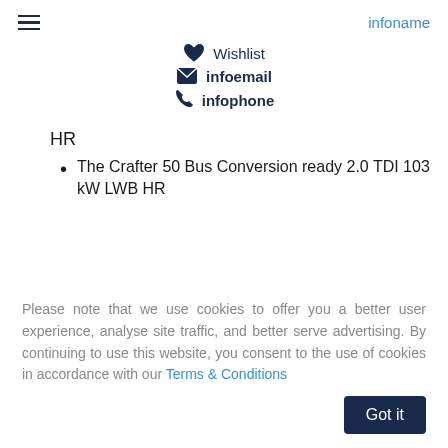infoname
Wishlist
infoemail
infophone
HR
The Crafter 50 Bus Conversion ready 2.0 TDI 103 kW LWB HR
Please note that we use cookies to offer you a better user experience, analyse site traffic, and better serve advertising. By continuing to use this website, you consent to the use of cookies in accordance with our Terms & Conditions
Got it